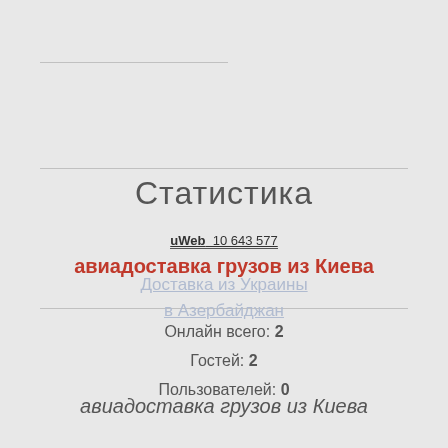Статистика
uWeb  10 643 577
авиадоставка грузов из Киева
Доставка из Украины
в Азербайджан
Онлайн всего: 2
Гостей: 2
Пользователей: 0
авиадоставка грузов из Киева